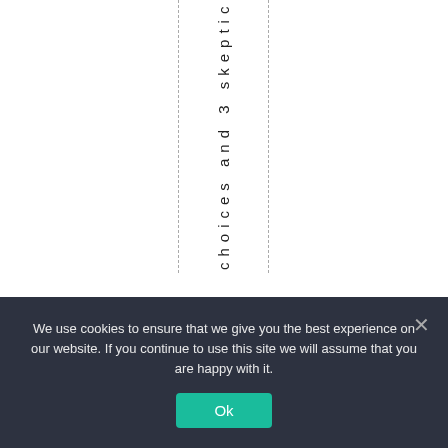choices and 3 skeptic
We use cookies to ensure that we give you the best experience on our website. If you continue to use this site we will assume that you are happy with it.